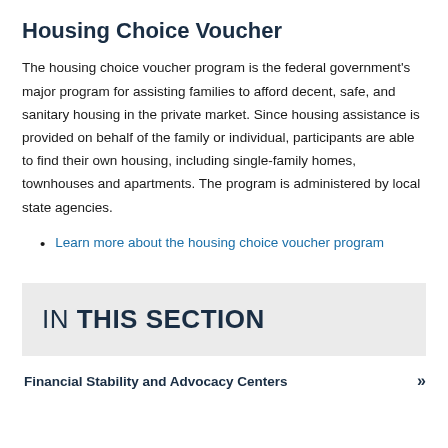Housing Choice Voucher
The housing choice voucher program is the federal government's major program for assisting families to afford decent, safe, and sanitary housing in the private market. Since housing assistance is provided on behalf of the family or individual, participants are able to find their own housing, including single-family homes, townhouses and apartments. The program is administered by local state agencies.
Learn more about the housing choice voucher program
IN THIS SECTION
Financial Stability and Advocacy Centers